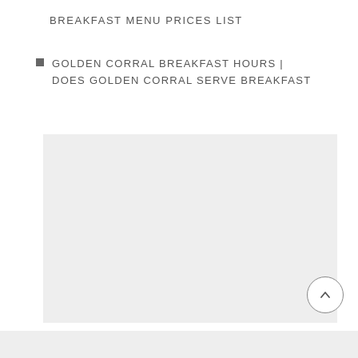BREAKFAST MENU PRICES LIST
GOLDEN CORRAL BREAKFAST HOURS | DOES GOLDEN CORRAL SERVE BREAKFAST
[Figure (photo): Light gray rectangular placeholder image, likely for a photo related to Golden Corral breakfast.]
[Figure (other): Bottom partial light gray strip, likely beginning of another image or section.]